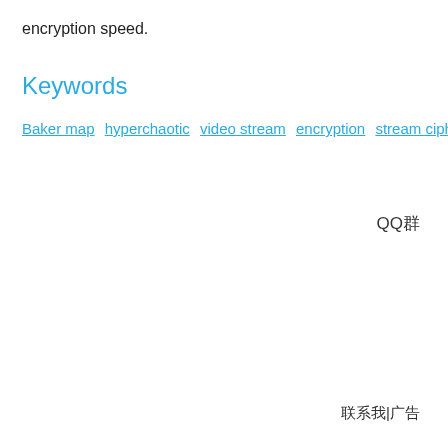encryption speed.
Keywords
Baker map  hyperchaotic  video stream  encryption  stream cipher  bloc
QQ群
联系我|广告